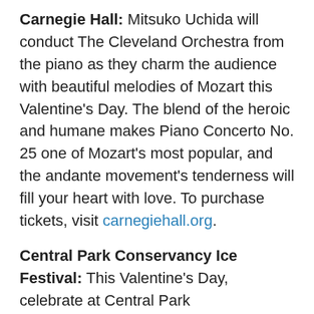Carnegie Hall: Mitsuko Uchida will conduct The Cleveland Orchestra from the piano as they charm the audience with beautiful melodies of Mozart this Valentine's Day. The blend of the heroic and humane makes Piano Concerto No. 25 one of Mozart's most popular, and the andante movement's tenderness will fill your heart with love. To purchase tickets, visit carnegiehall.org.
Central Park Conservancy Ice Festival: This Valentine's Day, celebrate at Central Park Conservancy's Fifth Annual Ice Festival in Naumburg Bandshell. The event includes ice carving, a photo booth, a Central Park trivia contest, sweet treats and, as night falls, a 1980s-themed silent disco with DJs and more. For information on this free event, visit centralparknyc.org.
Cupid's Chase 5K New York: Community Options, Inc...